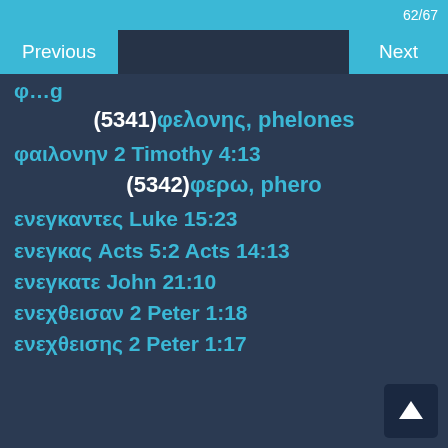62/67
Previous    Next
φ...g
(5341)φελονης, phelones
φαιλονην 2 Timothy 4:13
(5342)φερω, phero
ενεγκαντες Luke 15:23
ενεγκας Acts 5:2 Acts 14:13
ενεγκατε John 21:10
ενεχθεισαν 2 Peter 1:18
ενεχθεισης 2 Peter 1:17